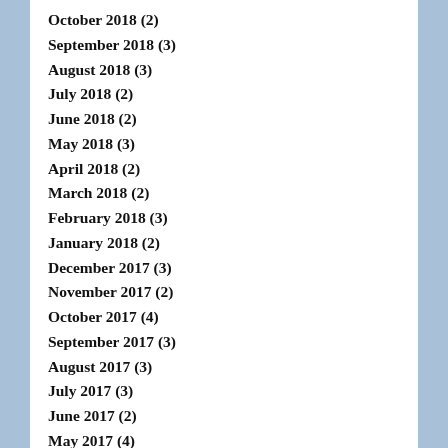October 2018 (2)
September 2018 (3)
August 2018 (3)
July 2018 (2)
June 2018 (2)
May 2018 (3)
April 2018 (2)
March 2018 (2)
February 2018 (3)
January 2018 (2)
December 2017 (3)
November 2017 (2)
October 2017 (4)
September 2017 (3)
August 2017 (3)
July 2017 (3)
June 2017 (2)
May 2017 (4)
April 2017 (2)